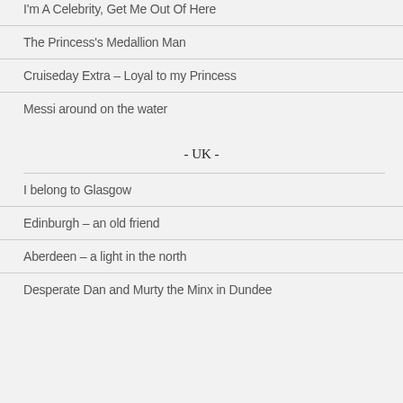I'm A Celebrity, Get Me Out Of Here
The Princess's Medallion Man
Cruiseday Extra – Loyal to my Princess
Messi around on the water
- UK -
I belong to Glasgow
Edinburgh – an old friend
Aberdeen – a light in the north
Desperate Dan and Murty the Minx in Dundee